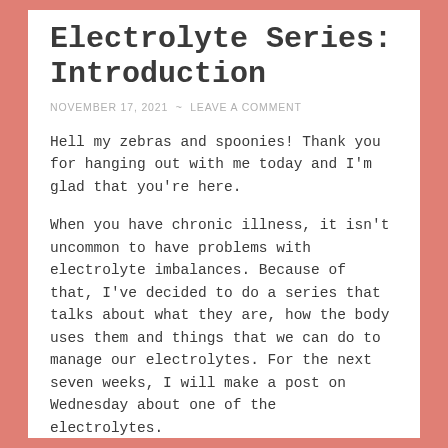Electrolyte Series: Introduction
NOVEMBER 17, 2021  ~  LEAVE A COMMENT
Hell my zebras and spoonies! Thank you for hanging out with me today and I'm glad that you're here.
When you have chronic illness, it isn't uncommon to have problems with electrolyte imbalances. Because of that, I've decided to do a series that talks about what they are, how the body uses them and things that we can do to manage our electrolytes. For the next seven weeks, I will make a post on Wednesday about one of the electrolytes.